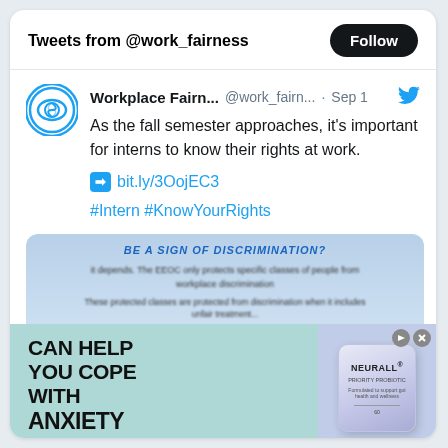Tweets from @work_fairness
Workplace Fairn...  @work_fairn... · Sep 1
As the fall semester approaches, it's important for interns to know their rights at work.
bit.ly/3OojEC3
#Intern #KnowYourRights
[Figure (screenshot): Blurred image of an EEOC workplace discrimination document]
[Figure (infographic): Advertisement: CAN HELP YOU COPE WITH ANXIETY - Bened Life, featuring Neuralli probiotic product]